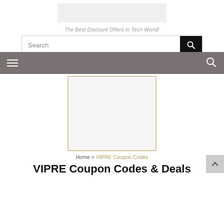[Figure (other): Logo placeholder rectangle (light gray)]
The Best Discount Offers in Tech World!
[Figure (other): Search bar with text input and black search button icon]
[Figure (other): Gray navigation bar with hamburger menu icon on left and search icon on right]
[Figure (other): Square image placeholder with golden/tan border on light gray background]
Home > VIPRE Coupon Codes
VIPRE Coupon Codes & Deals